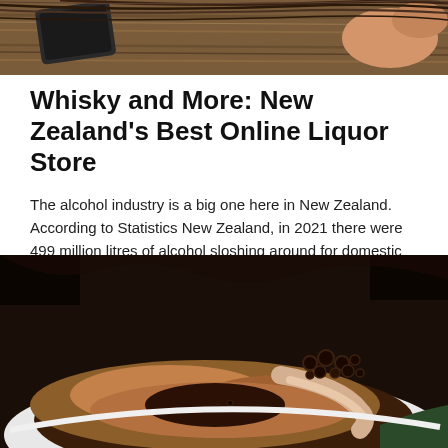[Figure (photo): Close-up photo of hands holding a phone or card, wood surface visible in background, cropped at top of page]
Whisky and More: New Zealand's Best Online Liquor Store
The alcohol industry is a big one here in New Zealand. According to Statistics New Zealand, in 2021 there were 499 million litres of alcohol sloshing around for domestic consumption. To break that down, that's …
– Read more
[Figure (photo): Close-up overhead photo of a cup of espresso coffee with crema and bubbles, white ceramic cup visible at bottom]